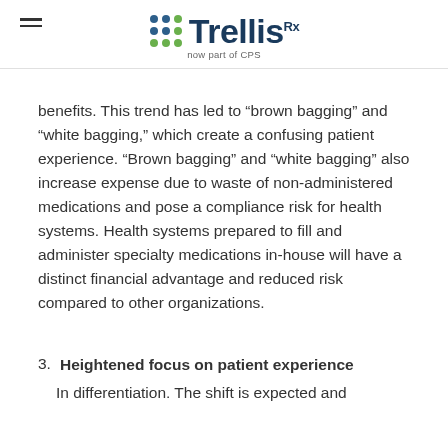Trellis Rx — now part of CPS
benefits. This trend has led to “brown bagging” and “white bagging,” which create a confusing patient experience. “Brown bagging” and “white bagging” also increase expense due to waste of non-administered medications and pose a compliance risk for health systems. Health systems prepared to fill and administer specialty medications in-house will have a distinct financial advantage and reduced risk compared to other organizations.
3. Heightened focus on patient experience
In differentiation. The shift is expected and